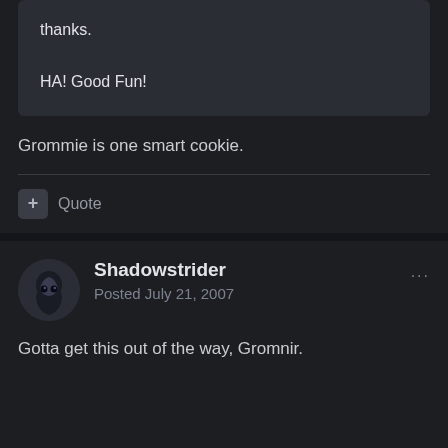thanks.

HA! Good Fun!
Grommie is one smart cookie.
+ Quote
Shadowstrider
Posted July 21, 2007
Gotta get this out of the way, Gromnir.